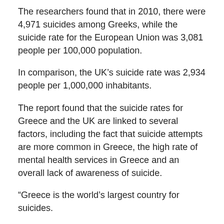The researchers found that in 2010, there were 4,971 suicides among Greeks, while the suicide rate for the European Union was 3,081 people per 100,000 population.
In comparison, the UK’s suicide rate was 2,934 people per 1,000,000 inhabitants.
The report found that the suicide rates for Greece and the UK are linked to several factors, including the fact that suicide attempts are more common in Greece, the high rate of mental health services in Greece and an overall lack of awareness of suicide.
“Greece is the world’s largest country for suicides.
It’s a large country with a large population, which is why we see so many suicides,” said Dr Rene Loesche, the lead author of the study and professor at the University of Groningen in the Netherlands.”